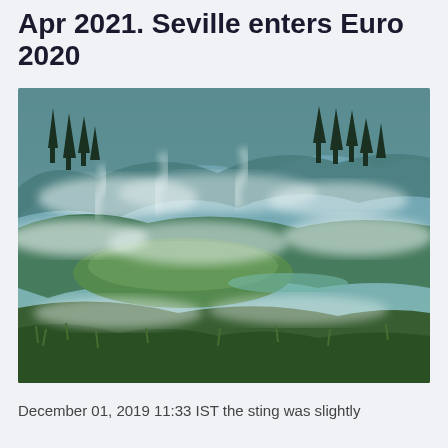Apr 2021. Seville enters Euro 2020
[Figure (photo): Misty landscape with green moss-covered hills, trees in the background, and steam or fog rising from the ground in multiple layers. HDR-style photograph with teal and green tones.]
December 01, 2019 11:33 IST the sting was slightly